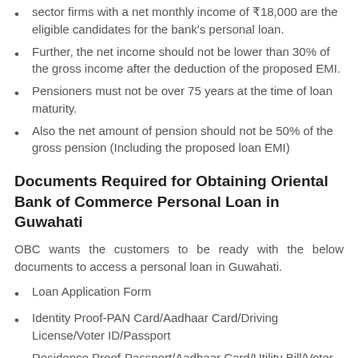sector firms with a net monthly income of ₹18,000 are the eligible candidates for the bank's personal loan.
Further, the net income should not be lower than 30% of the gross income after the deduction of the proposed EMI.
Pensioners must not be over 75 years at the time of loan maturity.
Also the net amount of pension should not be 50% of the gross pension (Including the proposed loan EMI)
Documents Required for Obtaining Oriental Bank of Commerce Personal Loan in Guwahati
OBC wants the customers to be ready with the below documents to access a personal loan in Guwahati.
Loan Application Form
Identity Proof-PAN Card/Aadhaar Card/Driving License/Voter ID/Passport
Residence Proof-Passport/Aadhaar Card/Utility Bill/Voter ID
Income Proof-Last 3-6 Month Salary Slip, Last 6-month bank statement, Latest Form 16 & ITR